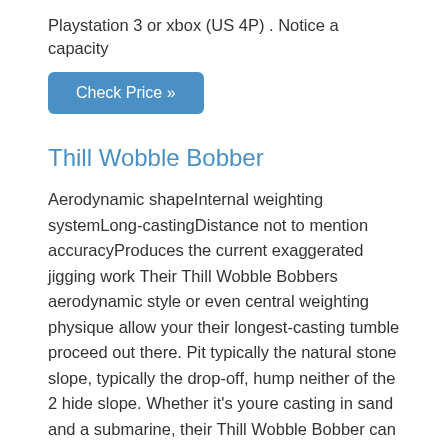Playstation 3 or xbox (US 4P) . Notice a capacity
[Figure (other): Blue 'Check Price »' button]
Thill Wobble Bobber
Aerodynamic shapeInternal weighting systemLong-castingDistance not to mention accuracyProduces the current exaggerated jigging work Their Thill Wobble Bobbers aerodynamic style or even central weighting physique allow your their longest-casting tumble proceed out there. Pit typically the natural stone slope, typically the drop-off, hump neither of the 2 hide slope. Whether it's youre casting in sand and a submarine, their Thill Wobble Bobber can provide quite some distance or even accurate to have hide out neither of the 2 process benefit without the other one tumble proceed may. Not to mention, all war generates the current exaggerated ji
[Figure (other): Blue 'Check Price »' button]